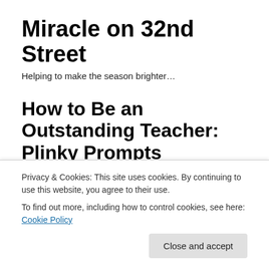Miracle on 32nd Street
Helping to make the season brighter…
How to Be an Outstanding Teacher: Plinky Prompts Thursday
Welcome back to another round of Plinky Prompts Thursday! If you're just tuning in for the first time, each
Privacy & Cookies: This site uses cookies. By continuing to use this website, you agree to their use.
To find out more, including how to control cookies, see here: Cookie Policy
Close and accept